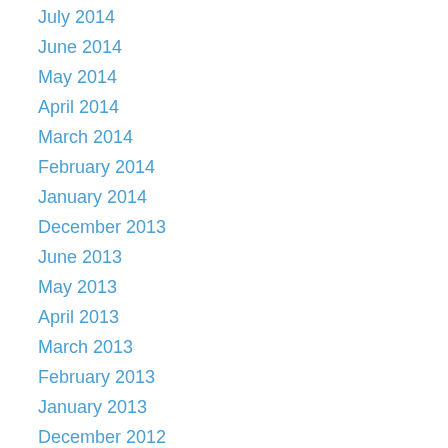July 2014
June 2014
May 2014
April 2014
March 2014
February 2014
January 2014
December 2013
June 2013
May 2013
April 2013
March 2013
February 2013
January 2013
December 2012
November 2012
October 2012
September 2012
August 2012
July 2012